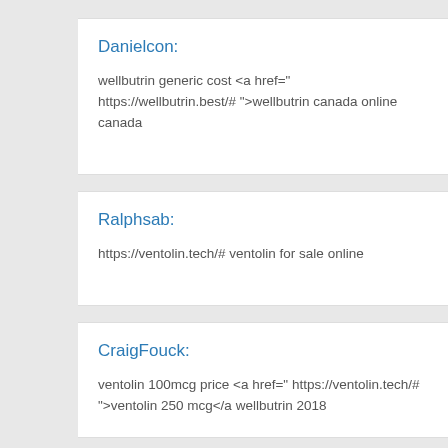Danielcon:
wellbutrin generic cost <a href=" https://wellbutrin.best/# ">wellbutrin canada online canada
Ralphsab:
https://ventolin.tech/# ventolin for sale online
CraigFouck:
ventolin 100mcg price <a href=" https://ventolin.tech/# ">ventolin 250 mcg</a wellbutrin 2018